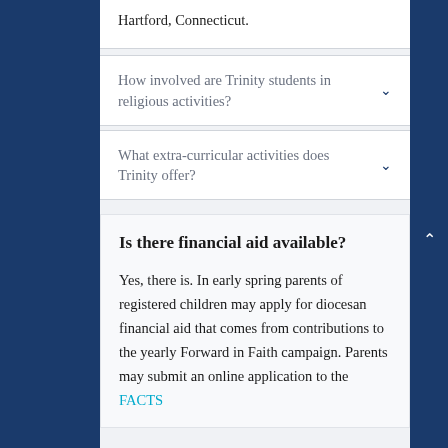Hartford, Connecticut.
How involved are Trinity students in religious activities?
What extra-curricular activities does Trinity offer?
Is there financial aid available?
Yes, there is.  In early spring parents of registered children may apply for diocesan financial aid that comes from contributions to the yearly Forward in Faith campaign. Parents may submit an online application to the FACTS